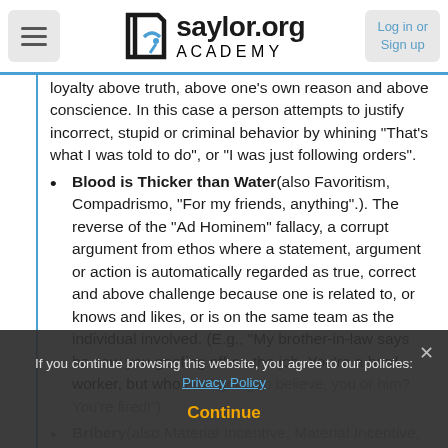saylor.org Academy — Log in or Sign up
loyalty above truth, above one's own reason and above conscience. In this case a person attempts to justify incorrect, stupid or criminal behavior by whining "That's what I was told to do", or "I was just following orders".
Blood is Thicker than Water(also Favoritism, Compadrismo, "For my friends, anything".). The reverse of the "Ad Hominem" fallacy, a corrupt argument from ethos where a statement, argument or action is automatically regarded as true, correct and above challenge because one is related to, or knows and likes, or is on the same team as the individual involved. (E.g., "My brother-in-law says he saw you goofing off on the job. You're a hard worker, but who am I going to believe, you or him? You're fired!")
Bribery(also Material Incentive, Material Incentive, Financial Incentive). The fallacy of "persuasion" by bribery, gifts or favors, the reverse of the Argumentum...
If you continue browsing this website, you agree to our policies: Privacy Policy
Continue